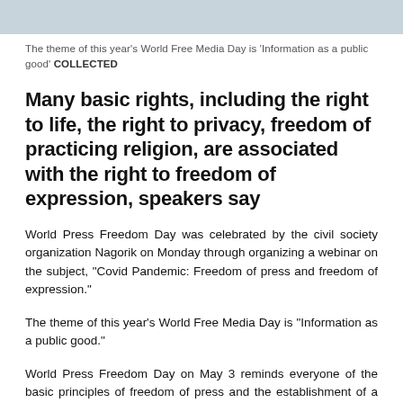[Figure (photo): Top image bar, light blue-grey color, partially visible photograph]
The theme of this year's World Free Media Day is 'Information as a public good' COLLECTED
Many basic rights, including the right to life, the right to privacy, freedom of practicing religion, are associated with the right to freedom of expression, speakers say
World Press Freedom Day was celebrated by the civil society organization Nagorik on Monday through organizing a webinar on the subject, "Covid Pandemic: Freedom of press and freedom of expression."
The theme of this year's World Free Media Day is "Information as a public good."
World Press Freedom Day on May 3 reminds everyone of the basic principles of freedom of press and the establishment of a free media, evaluating the freedom of the media around the world, taking an oath to resist to enforce to freedom of expression...